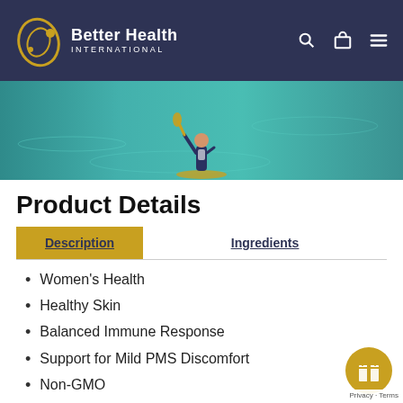Better Health International
[Figure (photo): Person paddleboarding on teal/turquoise water, aerial view, wearing athletic clothing]
Product Details
Description | Ingredients (tabs)
Women’s Health
Healthy Skin
Balanced Immune Response
Support for Mild PMS Discomfort
Non-GMO
A Dietary Supplement